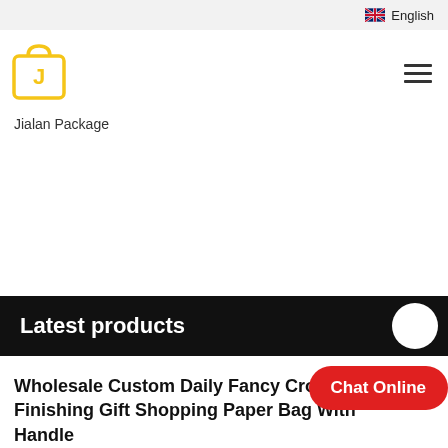English
[Figure (logo): Jialan Package logo: yellow shopping bag with letter J inside, text JIALAN below]
Jialan Package
Latest products
Wholesale Custom Daily Fancy Crown Finishing Gift Shopping Paper Bag With Handle
Chat Online